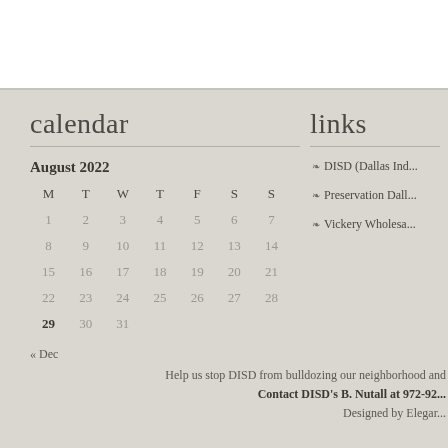calendar
| M | T | W | T | F | S | S |
| --- | --- | --- | --- | --- | --- | --- |
| 1 | 2 | 3 | 4 | 5 | 6 | 7 |
| 8 | 9 | 10 | 11 | 12 | 13 | 14 |
| 15 | 16 | 17 | 18 | 19 | 20 | 21 |
| 22 | 23 | 24 | 25 | 26 | 27 | 28 |
| 29 | 30 | 31 |  |  |  |  |
« Dec
links
DISD (Dallas Ind...
Preservation Dall...
Vickery Wholesa...
Help us stop DISD from bulldozing our neighborhood and
Contact DISD's B. Nutall at 972-92...
Designed by Elegar...